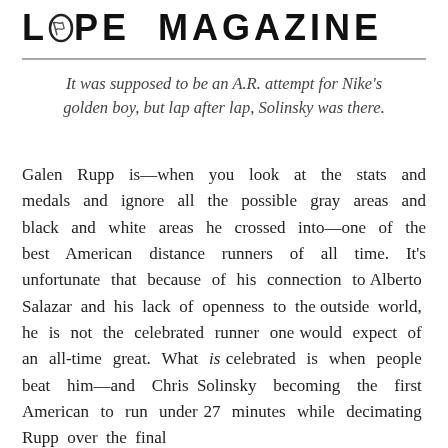LOPE MAGAZINE
It was supposed to be an A.R. attempt for Nike's golden boy, but lap after lap, Solinsky was there.
Galen Rupp is—when you look at the stats and medals and ignore all the possible gray areas and black and white areas he crossed into—one of the best American distance runners of all time. It's unfortunate that because of his connection to Alberto Salazar and his lack of openness to the outside world, he is not the celebrated runner one would expect of an all-time great. What is celebrated is when people beat him—and Chris Solinsky becoming the first American to run under 27 minutes while decimating Rupp over the final laps has been the first celebrated in 2009 and